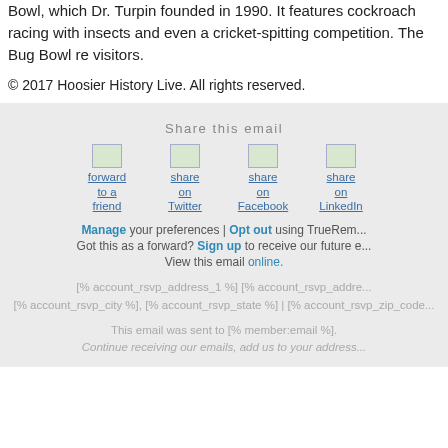Bowl, which Dr. Turpin founded in 1990. It features cockroach racing with insects and even a cricket-spitting competition. The Bug Bowl re visitors.
© 2017 Hoosier History Live. All rights reserved.
Share this email
[Figure (infographic): Four share icons: forward to a friend, share on Twitter, share on Facebook, share on LinkedIn]
Manage your preferences | Opt out using TrueRem...
Got this as a forward? Sign up to receive our future e...
View this email online.
[% account_rsvp_address_1 %] [% account_rsvp_addre... [% account_rsvp_city %], [% account_rsvp_state %] | [% account_rsvp_zip_code...
This email was sent to [% member:email %]. Continue receiving our emails, add us to your address...